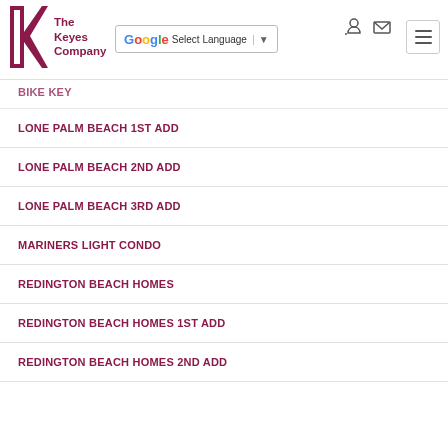[Figure (logo): The Keyes Company logo with K monogram in dark red/maroon and text 'The Keyes Company']
[Figure (screenshot): Google Translate widget with 'Select Language' dropdown]
[Figure (other): User login icon and mail icon, hamburger menu button]
BIKE KEY (partially visible)
LONE PALM BEACH 1ST ADD
LONE PALM BEACH 2ND ADD
LONE PALM BEACH 3RD ADD
MARINERS LIGHT CONDO
REDINGTON BEACH HOMES
REDINGTON BEACH HOMES 1ST ADD
REDINGTON BEACH HOMES 2ND ADD